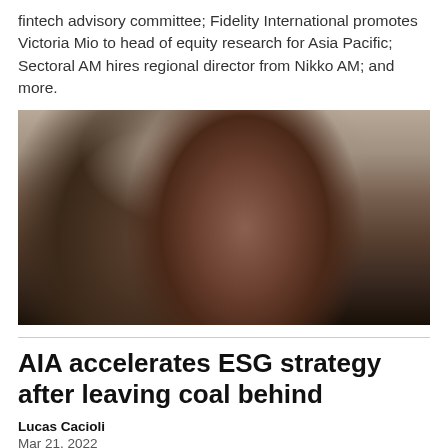fintech advisory committee; Fidelity International promotes Victoria Mio to head of equity research for Asia Pacific; Sectoral AM hires regional director from Nikko AM; and more.
[Figure (photo): Portrait photograph of a woman with long dark hair, wearing a blue outfit, seated in front of framed certificates/plaques on the wall behind her.]
AIA accelerates ESG strategy after leaving coal behind
Lucas Cacioli
Mar 21, 2022